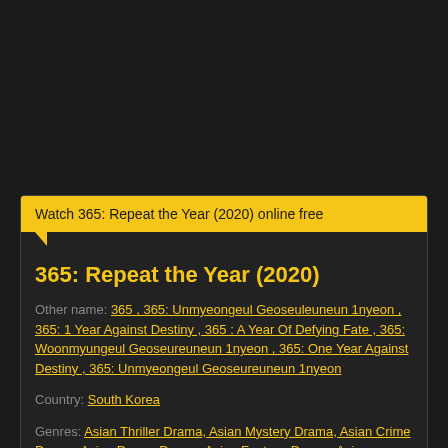Watch 365: Repeat the Year (2020) online free
365: Repeat the Year (2020)
Other name: 365 , 365: Unmyeongeul Geoseuleuneun 1nyeon , 365: 1 Year Against Destiny , 365 : A Year Of Defying Fate , 365: Woonmyungeul Geoseureuneun 1nyeon , 365: One Year Against Destiny , 365: Unmyeongeul Geoseureuneun 1nyeon
Country: South Korea
Genres: Asian Thriller Drama, Asian Mystery Drama, Asian Crime Drama, Asian Drama Drama, Asian Fantasy Drama, Asian Supernatural Drama
Date aired: Mar 23, 2020 - Apr 28, 2020